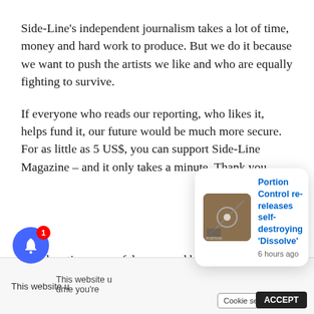Side-Line's independent journalism takes a lot of time, money and hard work to produce. But we do it because we want to push the artists we like and who are equally fighting to survive.
If everyone who reads our reporting, who likes it, helps fund it, our future would be much more secure. For as little as 5 US$, you can support Side-Line Magazine – and it only takes a minute. Thank you.
The donations are safely powered by Paypal
This website u...
[Figure (screenshot): Notification popup showing 'Portion Control re-releases self-destroying Dissolve' with thumbnail image and '6 hours ago' timestamp]
Cookie settings / ACCEPT